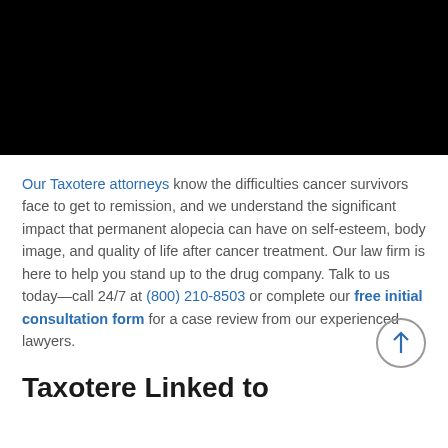[Figure (other): Black image/banner at top of page]
Our Taxotere attorneys know the difficulties cancer survivors face to get to remission, and we understand the significant impact that permanent alopecia can have on self-esteem, body image, and quality of life after cancer treatment. Our law firm is here to help you stand up to the drug company. Talk to us today—call 24/7 at (800) 210-8503 or complete our free initial consultation form for a case review from our experienced lawyers.
Taxotere Linked to